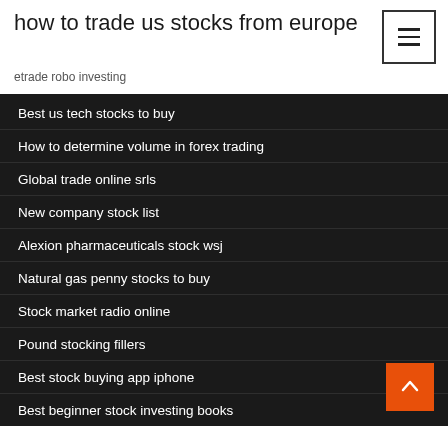how to trade us stocks from europe
etrade robo investing
Best us tech stocks to buy
How to determine volume in forex trading
Global trade online srls
New company stock list
Alexion pharmaceuticals stock wsj
Natural gas penny stocks to buy
Stock market radio online
Pound stocking fillers
Best stock buying app iphone
Best beginner stock investing books